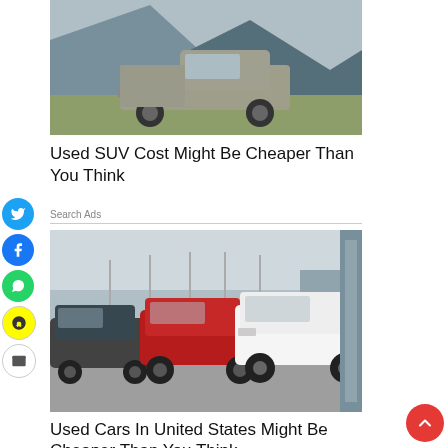[Figure (photo): A used pickup truck/SUV parked on terrain with a mountain backdrop]
Used SUV Cost Might Be Cheaper Than You Think
Search Ads
[Figure (photo): Multiple large SUVs parked in a car lot with streetlights and buildings in background]
Used Cars In United States Might Be Cheaper Than You Think